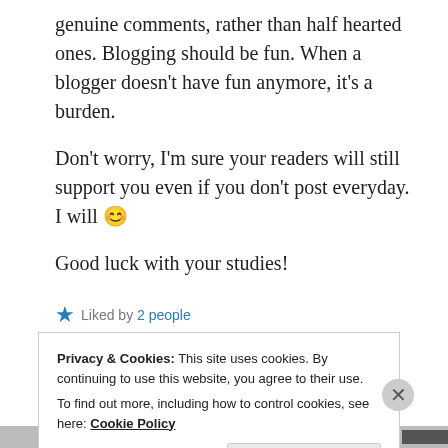genuine comments, rather than half hearted ones. Blogging should be fun. When a blogger doesn't have fun anymore, it's a burden.
Don't worry, I'm sure your readers will still support you even if you don't post everyday. I will 😊
Good luck with your studies!
★ Liked by 2 people
REPLY
Privacy & Cookies: This site uses cookies. By continuing to use this website, you agree to their use. To find out more, including how to control cookies, see here: Cookie Policy
Close and accept